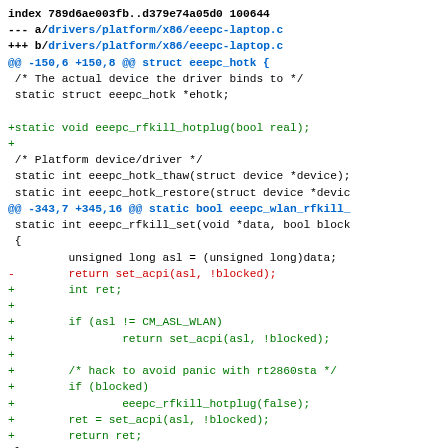[Figure (other): Git diff output showing changes to drivers/platform/x86/eeepc-laptop.c, including addition of eeepc_rfkill_hotplug function declaration and modification of eeepc_rfkill_set to add WLAN-specific handling and hotplug support.]